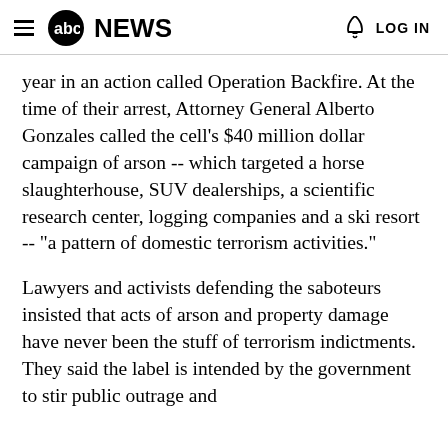abc NEWS  LOG IN
year in an action called Operation Backfire. At the time of their arrest, Attorney General Alberto Gonzales called the cell's $40 million dollar campaign of arson -- which targeted a horse slaughterhouse, SUV dealerships, a scientific research center, logging companies and a ski resort -- "a pattern of domestic terrorism activities."
Lawyers and activists defending the saboteurs insisted that acts of arson and property damage have never been the stuff of terrorism indictments. They said the label is intended by the government to stir public outrage and